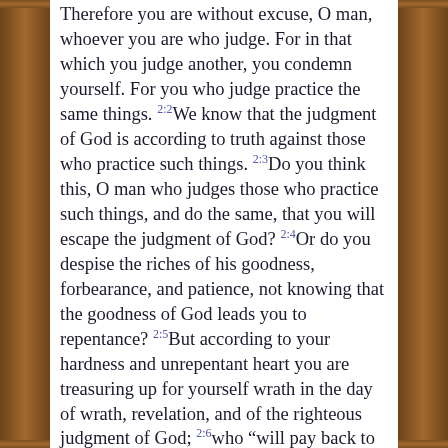Therefore you are without excuse, O man, whoever you are who judge. For in that which you judge another, you condemn yourself. For you who judge practice the same things. 2:2We know that the judgment of God is according to truth against those who practice such things. 2:3Do you think this, O man who judges those who practice such things, and do the same, that you will escape the judgment of God? 2:4Or do you despise the riches of his goodness, forbearance, and patience, not knowing that the goodness of God leads you to repentance? 2:5But according to your hardness and unrepentant heart you are treasuring up for yourself wrath in the day of wrath, revelation, and of the righteous judgment of God; 2:6who "will pay back to everyone according to their works:" 2:7to those who by patience in well-doing seek for glory and honor and incorruptibility, eternal life; 2:8but to those who are self-seeking, and don't obey the truth, but obey unrighteousness, will be wrath and indignation, 2:9oppression and anguish, on every soul of man who works evil, on the Jew first, and also on the Greek.
2:10But glory and honor and peace to every man who works good, to the Jew first, and also to the Greek.